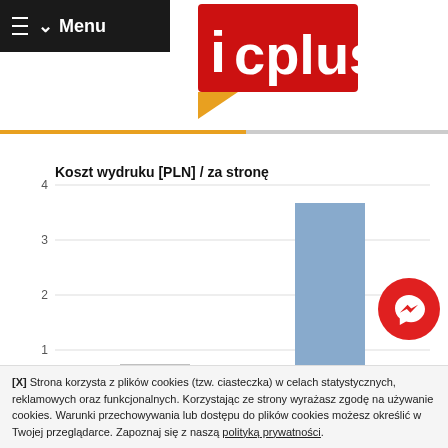Menu
[Figure (logo): ICplus logo — red rectangle with white 'icplus' text and orange/yellow triangle bottom-left]
[Figure (bar-chart): Koszt wydruku [PLN] / za stronę]
[X] Strona korzysta z plików cookies (tzw. ciasteczka) w celach statystycznych, reklamowych oraz funkcjonalnych. Korzystając ze strony wyrażasz zgodę na używanie cookies. Warunki przechowywania lub dostępu do plików cookies możesz określić w Twojej przeglądarce. Zapoznaj się z naszą polityką prywatności.